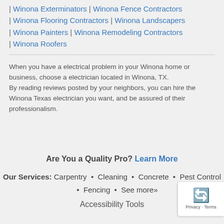| Winona Exterminators | Winona Fence Contractors | Winona Flooring Contractors | Winona Landscapers | Winona Painters | Winona Remodeling Contractors | Winona Roofers
When you have a electrical problem in your Winona home or business, choose a electrician located in Winona, TX. By reading reviews posted by your neighbors, you can hire the Winona Texas electrician you want, and be assured of their professionalism.
Are You a Quality Pro? Learn More
Our Services: Carpentry • Cleaning • Concrete • Pest Control • Fencing • See more»
Accessibility Tools